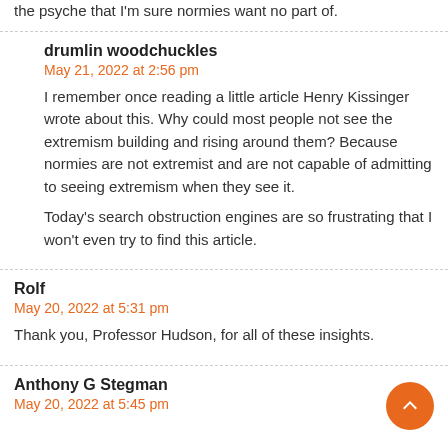the psyche that I'm sure normies want no part of.
drumlin woodchuckles
May 21, 2022 at 2:56 pm
I remember once reading a little article Henry Kissinger wrote about this. Why could most people not see the extremism building and rising around them? Because normies are not extremist and are not capable of admitting to seeing extremism when they see it.
Today's search obstruction engines are so frustrating that I won't even try to find this article.
Rolf
May 20, 2022 at 5:31 pm
Thank you, Professor Hudson, for all of these insights.
Anthony G Stegman
May 20, 2022 at 5:45 pm